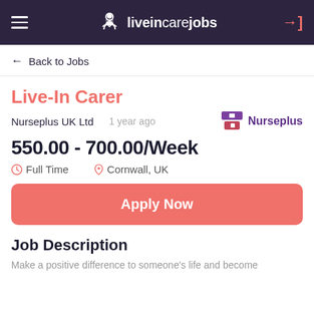liveincarejobs
← Back to Jobs
Live-In Carer
Nurseplus UK Ltd   1 year ago
550.00 - 700.00/Week
Full Time   Cornwall, UK
Apply Now
Job Description
Make a positive difference to someone's life and become